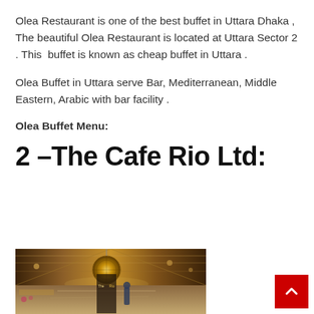Olea Restaurant is one of the best buffet in Uttara Dhaka , The beautiful Olea Restaurant is located at Uttara Sector 2 . This  buffet is known as cheap buffet in Uttara .
Olea Buffet in Uttara serve Bar, Mediterranean, Middle Eastern, Arabic with bar facility .
Olea Buffet Menu:
2 –The Cafe Rio Ltd:
[Figure (photo): Interior of The Cafe Rio Ltd restaurant showing an ornate golden spherical hanging lamp on a decorative ceiling with warm lighting, and a long corridor with buffet tables visible.]